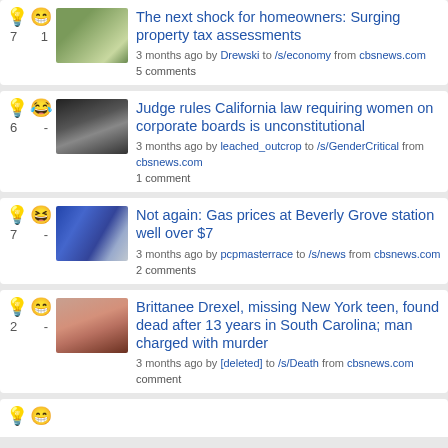The next shock for homeowners: Surging property tax assessments
3 months ago by Drewski to /s/economy from cbsnews.com
5 comments
Votes: 7, Comments: 1
Judge rules California law requiring women on corporate boards is unconstitutional
3 months ago by leached_outcrop to /s/GenderCritical from cbsnews.com
1 comment
Votes: 6
Not again: Gas prices at Beverly Grove station well over $7
3 months ago by pcpmasterrace to /s/news from cbsnews.com
2 comments
Votes: 7
Brittanee Drexel, missing New York teen, found dead after 13 years in South Carolina; man charged with murder
3 months ago by [deleted] to /s/Death from cbsnews.com
comment
Votes: 2